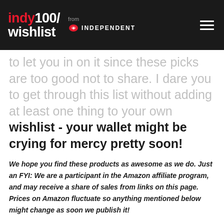indy100/ wishlist from INDEPENDENT
to let you in on it since these picks are too good not to share. I dare you to get through this list without adding at least one thing to your own wishlist - your wallet might be crying for mercy pretty soon!
We hope you find these products as awesome as we do. Just an FYI: We are a participant in the Amazon affiliate program, and may receive a share of sales from links on this page. Prices on Amazon fluctuate so anything mentioned below might change as soon we publish it!
From the coziest fleece leggings to the best tinted lipbalm to the prettiest mousepad, here's a look at my "to buy" list on Amazon.